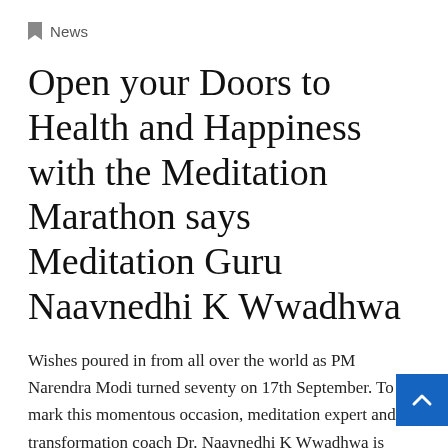News
Open your Doors to Health and Happiness with the Meditation Marathon says Meditation Guru Naavnedhi K Wwadhwa
Wishes poured in from all over the world as PM Narendra Modi turned seventy on 17th September. To mark this momentous occasion, meditation expert and transformation coach Dr. Naavnedhi K Wwadhwa is launching a unique initiative. A seven-day Meditation Marathon, offering theme-